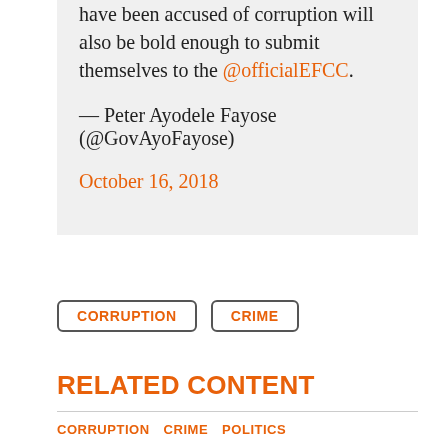have been accused of corruption will also be bold enough to submit themselves to the @officialEFCC.
— Peter Ayodele Fayose (@GovAyoFayose) October 16, 2018
CORRUPTION
CRIME
RELATED CONTENT
CORRUPTION  CRIME  POLITICS